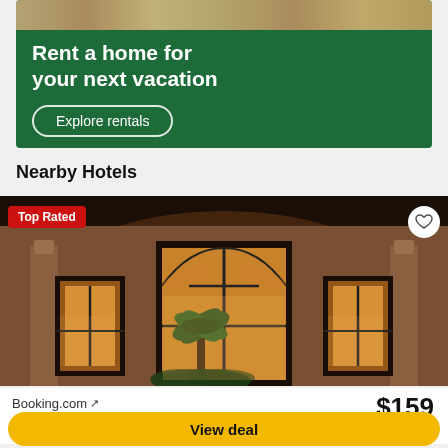[Figure (photo): Advertisement banner with dark green background showing 'Rent a home for your next vacation' headline and 'Explore rentals' button]
Nearby Hotels
[Figure (photo): Hotel exterior photo at night showing ornate arched windows with lights, palm trees, and classical architecture. Has 'Top Rated' badge and heart/favorite button.]
Booking.com ↗
$159
View deal